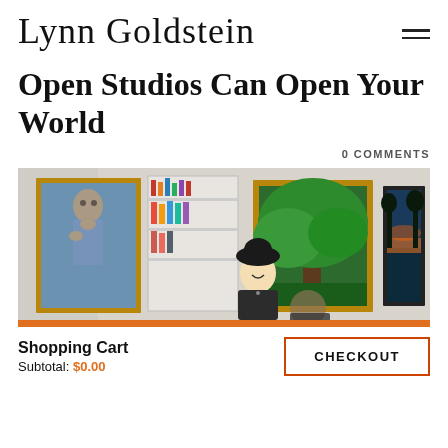Lynn Goldstein
Open Studios Can Open Your World
0 COMMENTS
[Figure (photo): Artist Lynn Goldstein standing in her art studio surrounded by several framed paintings including a portrait, a tree landscape, and a sunset landscape. She is wearing a black hat and smiling.]
Shopping Cart
Subtotal: $0.00
CHECKOUT